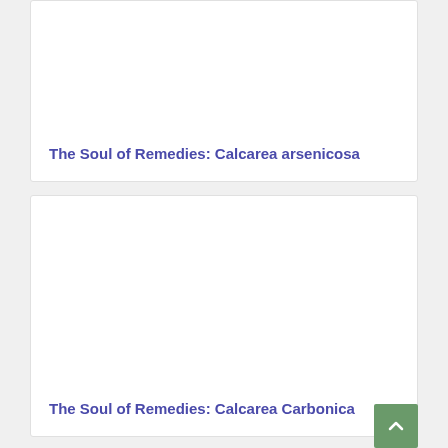The Soul of Remedies: Calcarea arsenicosa
The Soul of Remedies: Calcarea Carbonica